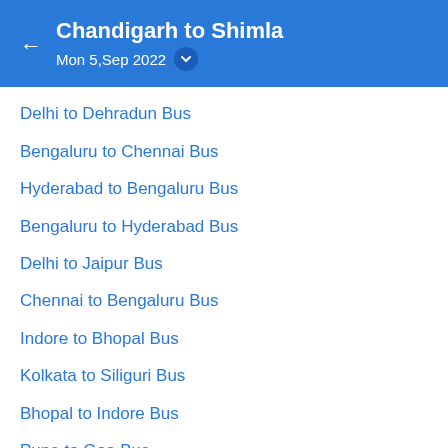Chandigarh to Shimla
Mon 5,Sep 2022
Delhi to Dehradun Bus
Bengaluru to Chennai Bus
Hyderabad to Bengaluru Bus
Bengaluru to Hyderabad Bus
Delhi to Jaipur Bus
Chennai to Bengaluru Bus
Indore to Bhopal Bus
Kolkata to Siliguri Bus
Bhopal to Indore Bus
Pune to Goa Bus
Mumbai to Pune Bus
Lucknow to Delhi Bus